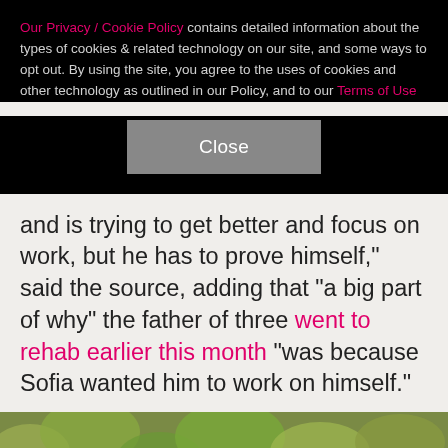Our Privacy / Cookie Policy contains detailed information about the types of cookies & related technology on our site, and some ways to opt out. By using the site, you agree to the uses of cookies and other technology as outlined in our Policy, and to our Terms of Use
[Figure (other): A gray 'Close' button on a black cookie consent banner]
and is trying to get better and focus on work, but he has to prove himself," said the source, adding that "a big part of why" the father of three went to rehab earlier this month "was because Sofia wanted him to work on himself."
[Figure (photo): A person wearing a dark cap with logo visible, partial head and shoulders, in front of leafy green/autumn foliage background]